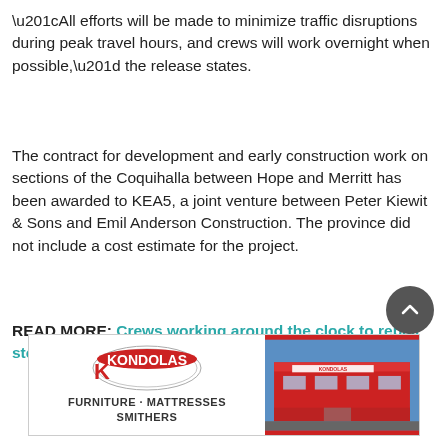“All efforts will be made to minimize traffic disruptions during peak travel hours, and crews will work overnight when possible,” the release states.
The contract for development and early construction work on sections of the Coquihalla between Hope and Merritt has been awarded to KEA5, a joint venture between Peter Kiewit & Sons and Emil Anderson Construction. The province did not include a cost estimate for the project.
READ MORE: Crews working around the clock to repair storm-ravaged Coquihalla
[Figure (other): Back to top circular button with upward chevron arrow icon]
[Figure (other): Kondolas Furniture advertisement banner showing logo, text FURNITURE - MATTRESSES SMITHERS and store building photo]